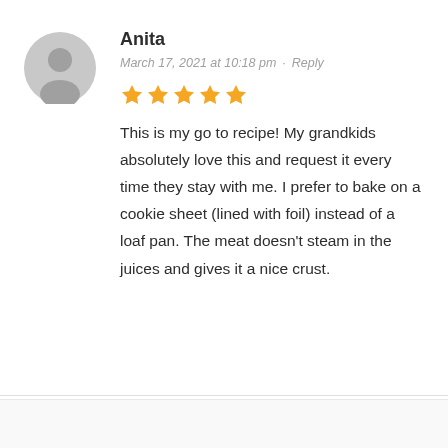[Figure (illustration): Grey circular avatar icon with a silhouette of a person (head and shoulders), used as a default user profile image.]
Anita
March 17, 2021 at 10:18 pm · Reply
[Figure (other): Five gold/orange star rating icons indicating a 5-star rating.]
This is my go to recipe! My grandkids absolutely love this and request it every time they stay with me. I prefer to bake on a cookie sheet (lined with foil) instead of a loaf pan. The meat doesn't steam in the juices and gives it a nice crust.